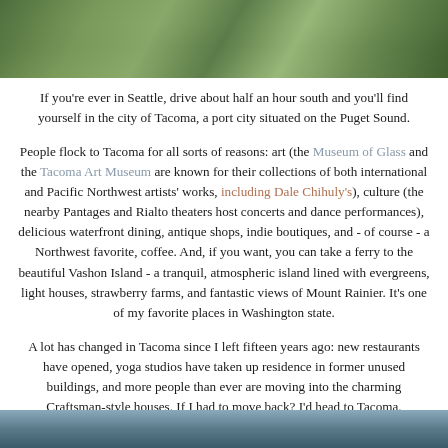[Figure (photo): Photo of buildings with trees and vegetation at the top of the page]
If you're ever in Seattle, drive about half an hour south and you'll find yourself in the city of Tacoma, a port city situated on the Puget Sound.
People flock to Tacoma for all sorts of reasons: art (the Museum of Glass and the Tacoma Art Museum are known for their collections of both international and Pacific Northwest artists' works, including Dale Chihuly's), culture (the nearby Pantages and Rialto theaters host concerts and dance performances), delicious waterfront dining, antique shops, indie boutiques, and - of course - a Northwest favorite, coffee. And, if you want, you can take a ferry to the beautiful Vashon Island - a tranquil, atmospheric island lined with evergreens, light houses, strawberry farms, and fantastic views of Mount Rainier. It's one of my favorite places in Washington state.
A lot has changed in Tacoma since I left fifteen years ago: new restaurants have opened, yoga studios have taken up residence in former unused buildings, and more people than ever are moving into the charming Craftsman-style houses. If I had to move back? I'd head to Tacoma.
[Figure (photo): Partial photo visible at the bottom of the page]